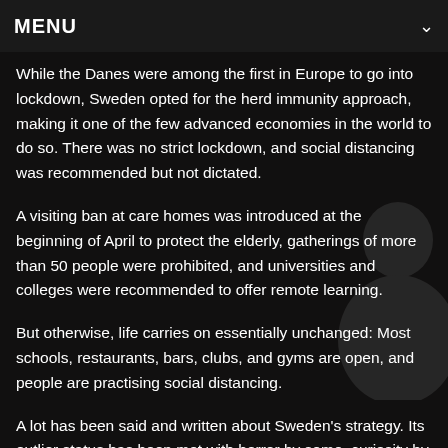MENU
While the Danes were among the first in Europe to go into lockdown, Sweden opted for the herd immunity approach, making it one of the few advanced economies in the world to do so. There was no strict lockdown, and social distancing was recommended but not dictated.
A visiting ban at care homes was introduced at the beginning of April to protect the elderly, gatherings of more than 50 people were prohibited, and universities and colleges were recommended to offer remote learning.
But otherwise, life carries on essentially unchanged: Most schools, restaurants, bars, clubs, and gyms are open, and people are practising social distancing.
A lot has been said and written about Sweden's strategy. Its outlier status has been met with horror by some, curiosity by most, and applause by those pressing their own governments